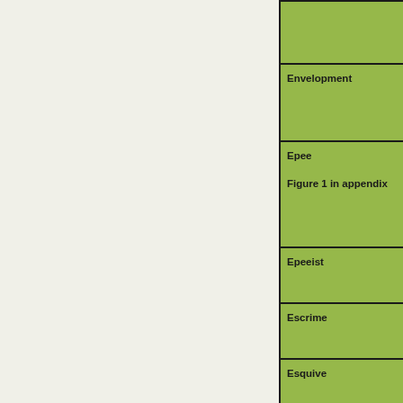| Term | Definition |
| --- | --- |
|  |  |
| Envelopment |  |
| Epee

Figure 1 in appendix |  |
| Epeeist |  |
| Escrime |  |
| Esquive |  |
| Exhaustive sheets |  |
| Extension |  |